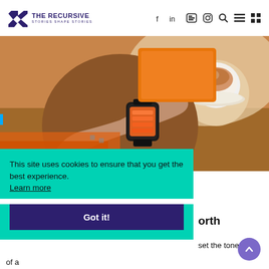THE RECURSIVE — Stories Shape Stories
[Figure (photo): Person checking an orange-interface smartwatch at a desk with a coffee cup and orange tablet/materials in background]
This site uses cookies to ensure that you get the best experience. Learn more
Got it!
…orth
…set the tone of a…